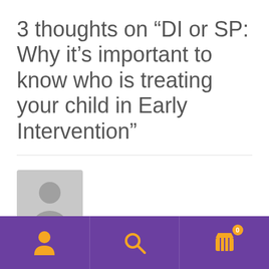3 thoughts on “DI or SP: Why it’s important to know who is treating your child in Early Intervention”
[Figure (illustration): Generic user avatar placeholder icon — a grey rounded square with a stylized person silhouette (circle head, rounded body shape)]
Communication Station: Speech Therapy, PLLC
Navigation bar with user icon, search icon, and shopping cart icon with badge showing 0